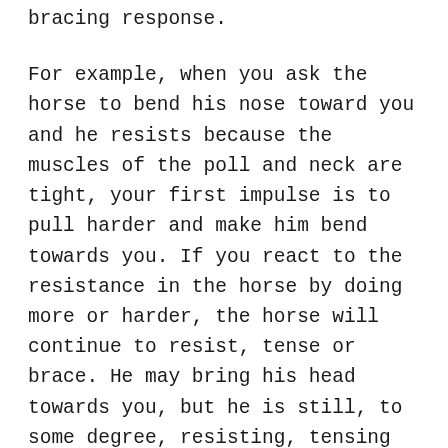bracing response.
For example, when you ask the horse to bend his nose toward you and he resists because the muscles of the poll and neck are tight, your first impulse is to pull harder and make him bend towards you. If you react to the resistance in the horse by doing more or harder, the horse will continue to resist, tense or brace. He may bring his head towards you, but he is still, to some degree, resisting, tensing or bracing. You cannot force a horse to relax. Only the horse can relax himself.
The Masterson Method teaches that when the horse resists, soften your hand(s) slightly. When